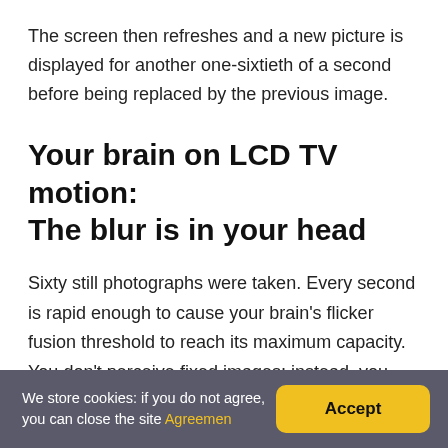The screen then refreshes and a new picture is displayed for another one-sixtieth of a second before being replaced by the previous image.
Your brain on LCD TV motion: The blur is in your head
Sixty still photographs were taken. Every second is rapid enough to cause your brain's flicker fusion threshold to reach its maximum capacity. You don't perceive fixed images; instead, you see continuous motion. Your brain, on the other hand, is operating at a rapid enough pace
We store cookies: if you do not agree, you can close the site Agreemen